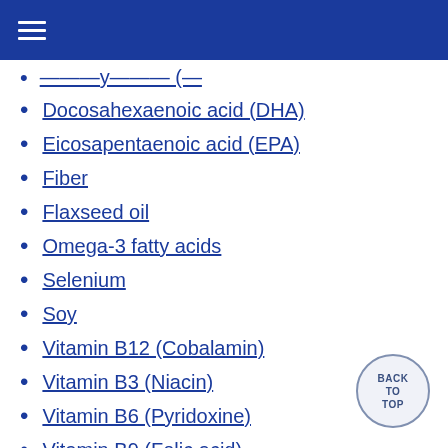Docosahexaenoic acid (DHA)
Eicosapentaenoic acid (EPA)
Fiber
Flaxseed oil
Omega-3 fatty acids
Selenium
Soy
Vitamin B12 (Cobalamin)
Vitamin B3 (Niacin)
Vitamin B6 (Pyridoxine)
Vitamin B9 (Folic acid)
Vitamin C (Ascorbic acid)
Vitamin E